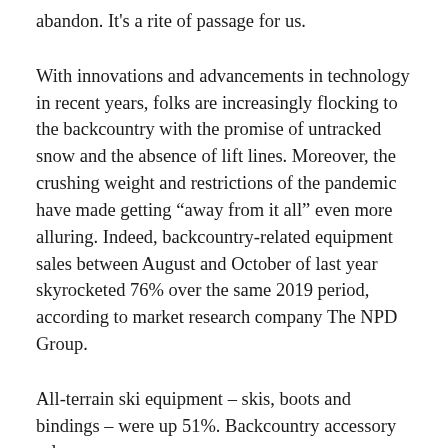abandon. It's a rite of passage for us.
With innovations and advancements in technology in recent years, folks are increasingly flocking to the backcountry with the promise of untracked snow and the absence of lift lines. Moreover, the crushing weight and restrictions of the pandemic have made getting “away from it all” even more alluring. Indeed, backcountry-related equipment sales between August and October of last year skyrocketed 76% over the same 2019 period, according to market research company The NPD Group.
All-terrain ski equipment – skis, boots and bindings – were up 51%. Backcountry accessory sales